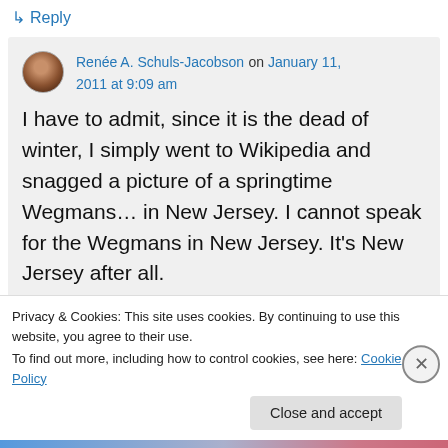↳ Reply
Renée A. Schuls-Jacobson on January 11, 2011 at 9:09 am
I have to admit, since it is the dead of winter, I simply went to Wikipedia and snagged a picture of a springtime Wegmans… in New Jersey. I cannot speak for the Wegmans in New Jersey. It's New Jersey after all.
Privacy & Cookies: This site uses cookies. By continuing to use this website, you agree to their use.
To find out more, including how to control cookies, see here: Cookie Policy
Close and accept